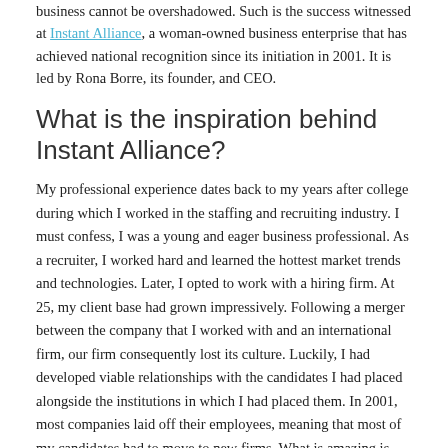business cannot be overshadowed. Such is the success witnessed at Instant Alliance, a woman-owned business enterprise that has achieved national recognition since its initiation in 2001. It is led by Rona Borre, its founder, and CEO.
What is the inspiration behind Instant Alliance?
My professional experience dates back to my years after college during which I worked in the staffing and recruiting industry. I must confess, I was a young and eager business professional. As a recruiter, I worked hard and learned the hottest market trends and technologies. Later, I opted to work with a hiring firm. At 25, my client base had grown impressively. Following a merger between the company that I worked with and an international firm, our firm consequently lost its culture. Luckily, I had developed viable relationships with the candidates I had placed alongside the institutions in which I had placed them. In 2001, most companies laid off their employees, meaning that most of my candidates had to move to new firms. What is amazing is that